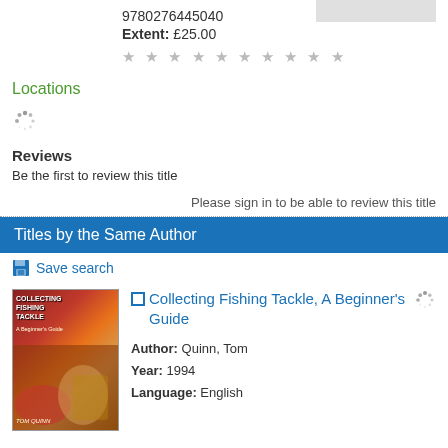9780276445040
Extent: £25.00
★ ★ ★ ★ ★ ★ ★ ★ ★ ★
Locations
[Figure (other): Loading spinner icon]
Reviews
Be the first to review this title
Please sign in to be able to review this title
Titles by the Same Author
Save search
[Figure (photo): Book cover for Collecting Fishing Tackle, A Beginner's Guide by Tom Quinn]
Collecting Fishing Tackle, A Beginner's Guide
Author: Quinn, Tom
Year: 1994
Language: English